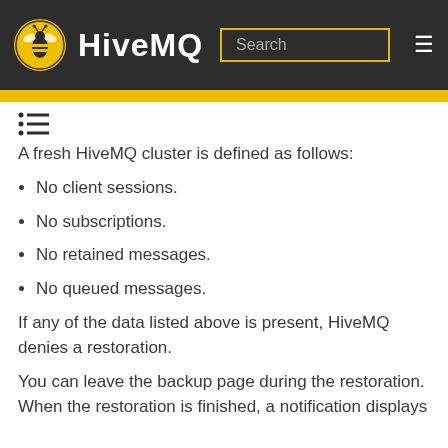HiveMQ
A fresh HiveMQ cluster is defined as follows:
No client sessions.
No subscriptions.
No retained messages.
No queued messages.
If any of the data listed above is present, HiveMQ denies a restoration.
You can leave the backup page during the restoration. When the restoration is finished, a notification displays